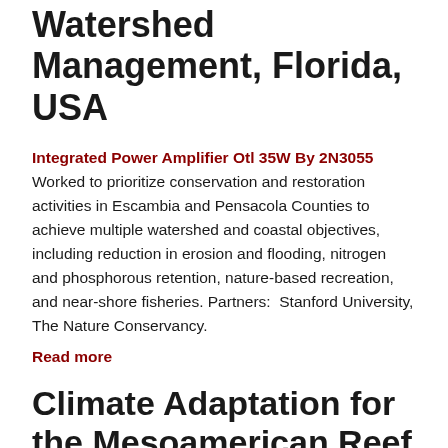Watershed Management, Florida, USA
Integrated Power Amplifier Otl 35W By 2N3055 Worked to prioritize conservation and restoration activities in Escambia and Pensacola Counties to achieve multiple watershed and coastal objectives, including reduction in erosion and flooding, nitrogen and phosphorous retention, nature-based recreation, and near-shore fisheries. Partners:  Stanford University, The Nature Conservancy.
Read more
Climate Adaptation for the Mesoamerican Reef (MAR), Latin America
Wiring Harness For 1971 Plymouth Satellite Working to use climate scenarios and ecosystem service modeling to identify